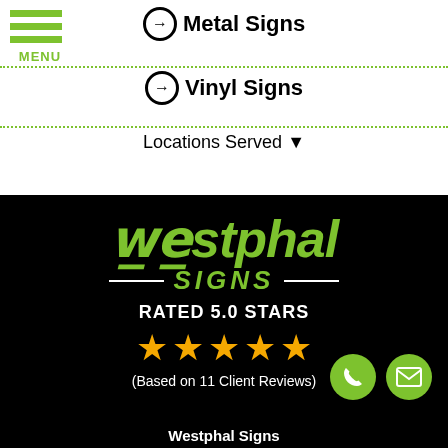Metal Signs
Vinyl Signs
Locations Served
[Figure (logo): Westphal Signs logo on black background with green and white lettering, rated 5.0 stars with 5 gold stars and text (Based on 11 Client Reviews)]
Westphal Signs